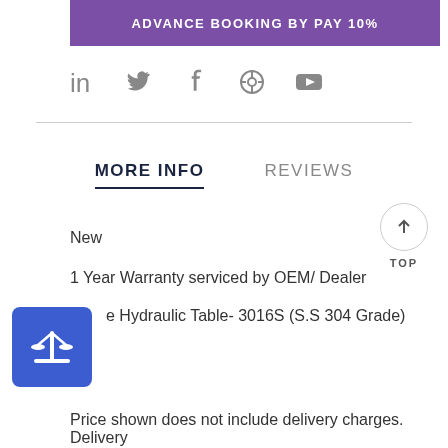ADVANCE BOOKING BY PAY 10%
[Figure (infographic): Social media icons: LinkedIn, Twitter, Facebook, Pinterest, YouTube]
MORE INFO   REVIEWS
New
1 Year Warranty serviced by OEM/ Dealer
e Hydraulic Table- 3016S (S.S 304 Grade)
Price shown does not include delivery charges. Delivery